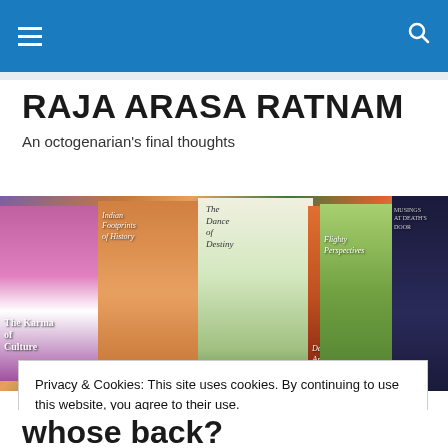Navigation bar with hamburger menu and search icon
RAJA ARASA RATNAM
An octogenarian's final thoughts
[Figure (photo): Banner image showing multiple book covers including 'The Karma of Culture', 'Indian Footprints of History', 'The Dance of Destiny', 'Flighty Perspectives', 'Musings at Death's Door', and a photo of the author]
Privacy & Cookies: This site uses cookies. By continuing to use this website, you agree to their use.
To find out more, including how to control cookies, see here: Cookie Policy
Close and accept
whose back?